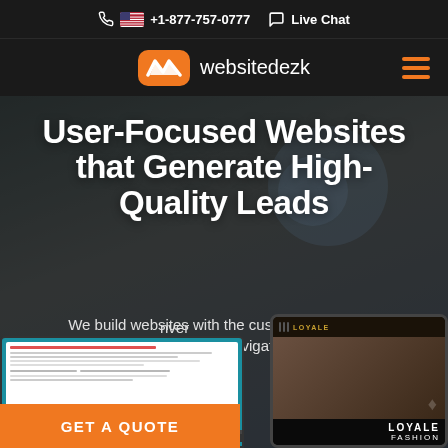+1-877-757-0777   Live Chat
[Figure (logo): websitedezk logo with orange badge icon and hamburger menu]
User-Focused Websites that Generate High-Quality Leads
We build websites with the customer journey in mind, enabling us to navigate yo... conver...
[Figure (screenshot): Laptop and tablet device mockups showing sample websites including Loyale Fashion]
GET A QUOTE